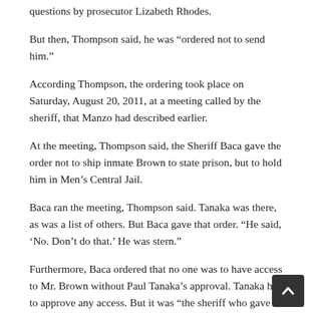questions by prosecutor Lizabeth Rhodes.
But then, Thompson said, he was “ordered not to send him.”
According Thompson, the ordering took place on Saturday, August 20, 2011, at a meeting called by the sheriff, that Manzo had described earlier.
At the meeting, Thompson said, the Sheriff Baca gave the order not to ship inmate Brown to state prison, but to hold him in Men’s Central Jail.
Baca ran the meeting, Thompson said. Tanaka was there, as was a list of others. But Baca gave that order. “He said, ‘No. Don’t do that.’ He was stern.”
Furthermore, Baca ordered that no one was to have access to Mr. Brown without Paul Tanaka’s approval. Tanaka had to approve any access. But it was “the sheriff who gave the order.”
Three days later, events occurred to illustrate, according to